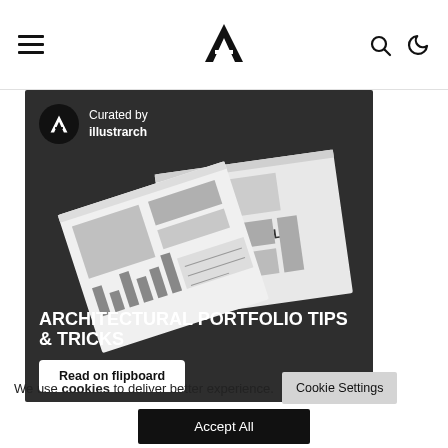Illustrarch navigation bar with hamburger menu, logo, search and dark mode icons
[Figure (photo): Architectural portfolio books and documents on dark background with text 'ARCHITECTURAL PORTFOLIO TIPS & TRICKS' and 'Read on flipboard' button, curated by illustrarch badge]
We use cookies to deliver better experience.
Cookie Settings
Accept All